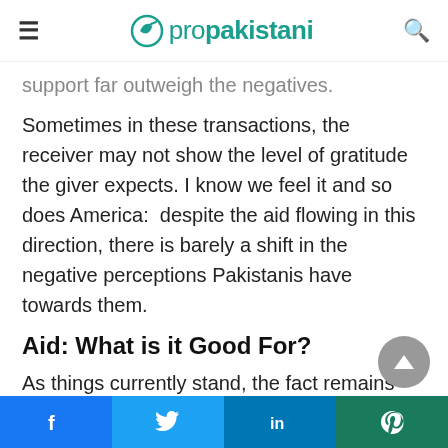propakistani
support far outweigh the negatives. Sometimes in these transactions, the receiver may not show the level of gratitude the giver expects. I know we feel it and so does America:  despite the aid flowing in this direction, there is barely a shift in the negative perceptions Pakistanis have towards them.
Aid: What is it Good For?
As things currently stand, the fact remains that in order to develop economically and, indeed to survive, we need foreign aid. In a perfect world, we
Facebook Twitter LinkedIn WhatsApp